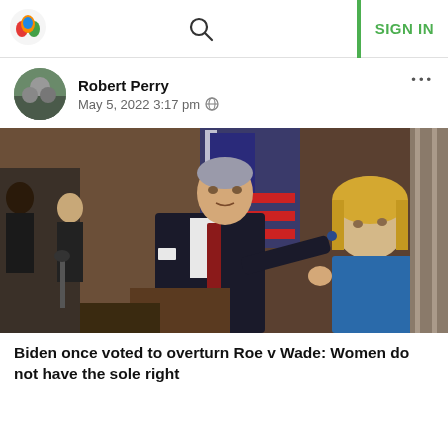SIGN IN
Robert Perry
May 5, 2022 3:17 pm
[Figure (photo): A younger Joe Biden in a dark suit and red tie pointing his finger at a press conference, with an American flag in the background, flanked by several people including a woman in a blue jacket with blonde hair.]
Biden once voted to overturn Roe v Wade: Women do not have the sole right